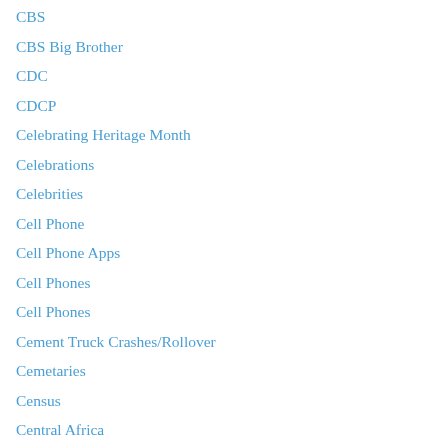CBS
CBS Big Brother
CDC
CDCP
Celebrating Heritage Month
Celebrations
Celebrities
Cell Phone
Cell Phone Apps
Cell Phones
Cell Phones
Cement Truck Crashes/Rollover
Cemetaries
Census
Central Africa
Central Falls RI
Central Maine Medical Center in Lewiston
CEO Steve Ballmer
cerebral palsy
Ceremonial Walk Down the Aisle